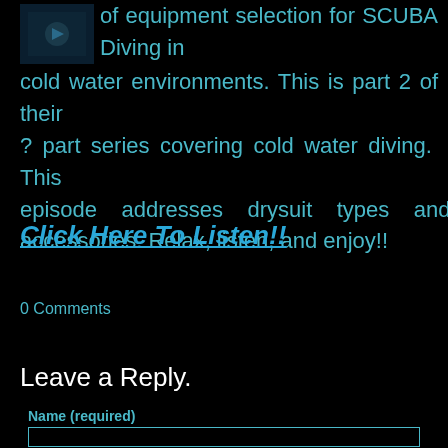of equipment selection for SCUBA Diving in cold water environments. This is part 2 of their ? part series covering cold water diving. This episode addresses drysuit types and accessories. Relax, listen, and enjoy!!
Click Here To Listen!!
0 Comments
Leave a Reply.
Name (required)